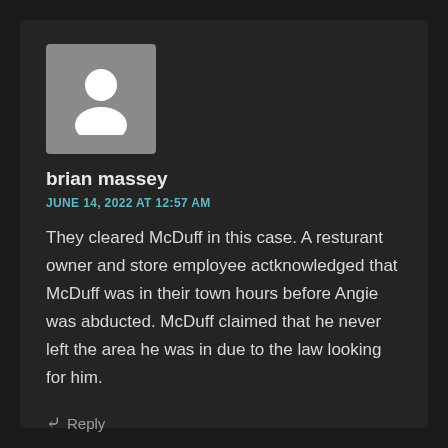[Figure (illustration): Default user avatar icon — a grey square with a white silhouette of a person (head and shoulders)]
brian massey
JUNE 14, 2022 AT 12:57 AM
They cleared McDuff in this case. A resturant owner and store employee actknowledged that McDuff was in their town hours before Angie was abducted. McDuff claimed that he never left the area he was in due to the law looking for him.
↪ Reply